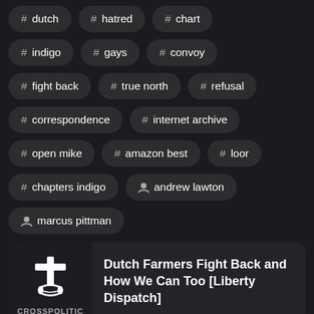# dutch
# hatred
# chart
# indigo
# gays
# convoy
# fight back
# true north
# refusal
# correspondence
# internet archive
# open mike
# amazon best
# loor
# chapters indigo
person andrew lawton
person marcus pittman
[Figure (logo): CrossPolitic logo with cross and scroll icon]
Dutch Farmers Fight Back and How We Can Too [Liberty Dispatch]